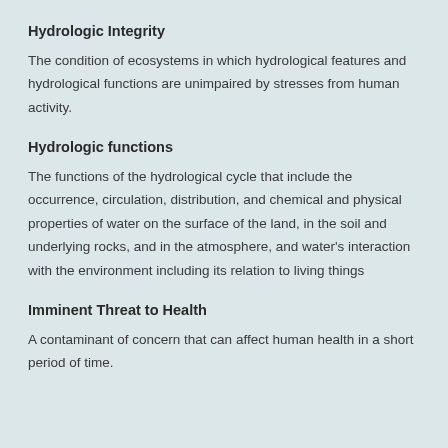Hydrologic Integrity
The condition of ecosystems in which hydrological features and hydrological functions are unimpaired by stresses from human activity.
Hydrologic functions
The functions of the hydrological cycle that include the occurrence, circulation, distribution, and chemical and physical properties of water on the surface of the land, in the soil and underlying rocks, and in the atmosphere, and water's interaction with the environment including its relation to living things
Imminent Threat to Health
A contaminant of concern that can affect human health in a short period of time.